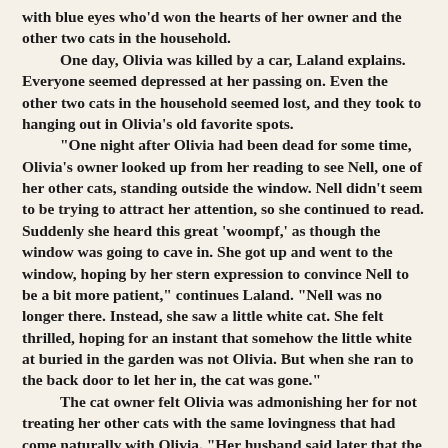with blue eyes who'd won the hearts of her owner and the other two cats in the household. One day, Olivia was killed by a car, Laland explains. Everyone seemed depressed at her passing on. Even the other two cats in the household seemed lost, and they took to hanging out in Olivia's old favorite spots. "One night after Olivia had been dead for some time, Olivia's owner looked up from her reading to see Nell, one of her other cats, standing outside the window. Nell didn't seem to be trying to attract her attention, so she continued to read. Suddenly she heard this great 'woompf,' as though the window was going to cave in. She got up and went to the window, hoping by her stern expression to convince Nell to be a bit more patient," continues Laland. "Nell was no longer there. Instead, she saw a little white cat. She felt thrilled, hoping for an instant that somehow the little white at buried in the garden was not Olivia. But when she ran to the back door to let her in, the cat was gone." The cat owner felt Olivia was admonishing her for not treating her other cats with the same lovingness that had come naturally with Olivia. "Her husband said later that the loud noise as the sound of a cat so spoiled that they threw her out of